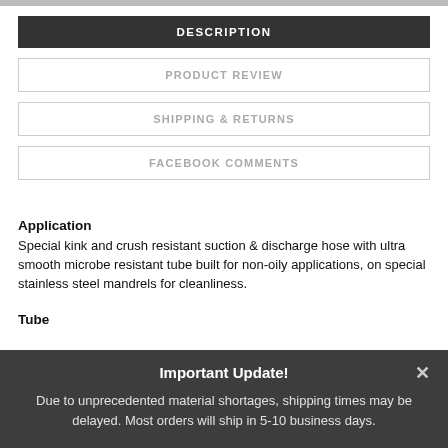DESCRIPTION
PRODUCT REVIEW
SHIPPING & RETURNS
FACEBOOK COMMENTS
Application
Special kink and crush resistant suction & discharge hose with ultra smooth microbe resistant tube built for non-oily applications, on special stainless steel mandrels for cleanliness.
Tube
Important Update!
Due to unprecedented material shortages, shipping times may be delayed. Most orders will ship in 5-10 business days.